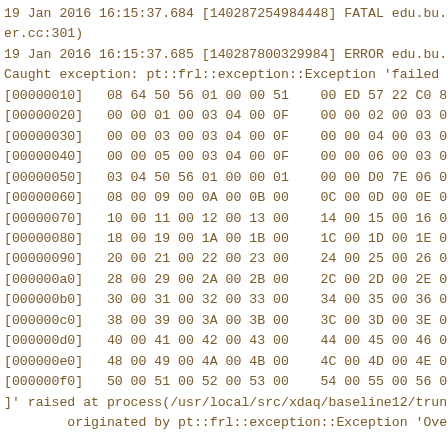19 Jan 2016 16:15:37.684 [140287254984448] FATAL edu.bu.cr
er.cc:301)
19 Jan 2016 16:15:37.685 [140287800329984] ERROR edu.bu.cr
Caught exception: pt::frl::exception::Exception 'failed t
[00000010]   08 64 50 56 01 00 00 51    00 ED 57 22 C0 81
[00000020]   00 00 01 00 03 04 00 0F    00 00 02 00 03 04
[00000030]   00 00 03 00 03 04 00 0F    00 00 04 00 03 04
[00000040]   00 00 05 00 03 04 00 0F    00 00 06 00 03 04
[00000050]   03 04 50 56 01 00 00 01    00 00 D0 7E 06 00
[00000060]   08 00 09 00 0A 00 0B 00    0C 00 0D 00 0E 00
[00000070]   10 00 11 00 12 00 13 00    14 00 15 00 16 00
[00000080]   18 00 19 00 1A 00 1B 00    1C 00 1D 00 1E 00
[00000090]   20 00 21 00 22 00 23 00    24 00 25 00 26 00
[000000a0]   28 00 29 00 2A 00 2B 00    2C 00 2D 00 2E 00
[000000b0]   30 00 31 00 32 00 33 00    34 00 35 00 36 00
[000000c0]   38 00 39 00 3A 00 3B 00    3C 00 3D 00 3E 00
[000000d0]   40 00 41 00 42 00 43 00    44 00 45 00 46 00
[000000e0]   48 00 49 00 4A 00 4B 00    4C 00 4D 00 4E 00
[000000f0]   50 00 51 00 52 00 53 00    54 00 55 00 56 00
]' raised at process(/usr/local/src/xdaq/baseline12/trunk
        originated by pt::frl::exception::Exception 'Over